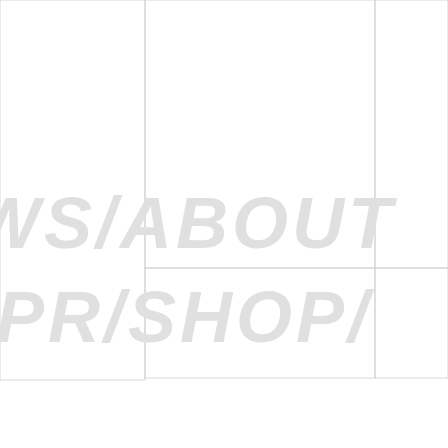[Figure (other): Watermark/background design with light gray italic text reading 'WS/ABOUT' on top line and '/PR/SHOP/' on bottom line, overlaid on a grid of rectangular outlines forming a tile-like layout.]